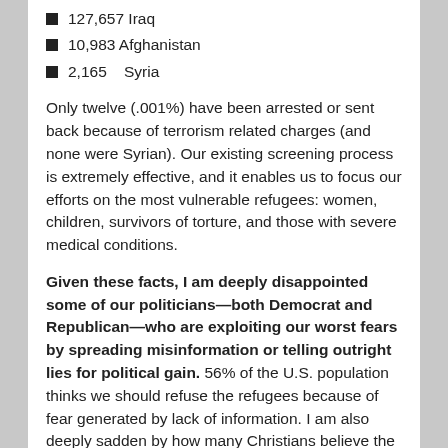127,657 Iraq
10,983 Afghanistan
2,165    Syria
Only twelve (.001%) have been arrested or sent back because of terrorism related charges (and none were Syrian). Our existing screening process is extremely effective, and it enables us to focus our efforts on the most vulnerable refugees: women, children, survivors of torture, and those with severe medical conditions.
Given these facts, I am deeply disappointed some of our politicians—both Democrat and Republican—who are exploiting our worst fears by spreading misinformation or telling outright lies for political gain. 56% of the U.S. population thinks we should refuse the refugees because of fear generated by lack of information. I am also deeply sadden by how many Christians believe the first thing they hear on the television and quickly sacrifice their faith on the altar of politics.